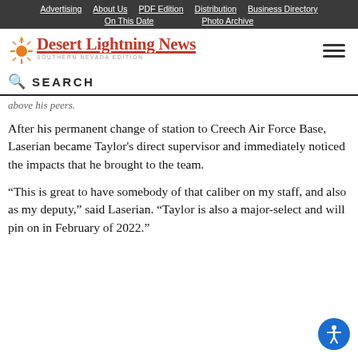Advertising | About Us | PDF Edition | Distribution | Business Directory | On This Date | Photo Archive
[Figure (logo): Desert Lightning News - Southern Nevada Edition logo with sun graphic]
SEARCH
above his peers.
After his permanent change of station to Creech Air Force Base, Laserian became Taylor's direct supervisor and immediately noticed the impacts that he brought to the team.
“This is great to have somebody of that caliber on my staff, and also as my deputy,” said Laserian. “Taylor is also a major-select and will pin on in February of 2022.”